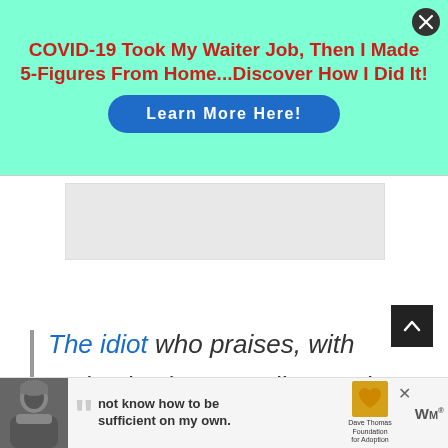[Figure (infographic): Advertisement banner with mint/aqua background. Title in bold red: 'COVID-19 Took My Waiter Job, Then I Made 5-Figures From Home...Discover How I Did It!' with a blue 'Learn More Here!' button. Close (X) button in top right corner.]
[Figure (infographic): Gray rectangular placeholder for an advertisement block in the middle of the page.]
[Figure (infographic): Dark square scroll-to-top button with an upward chevron arrow icon, positioned on the right side.]
The idiot who praises, with enthusiastic tone, All centuries but this, and every country but his own.
[Figure (infographic): Bottom advertisement strip featuring a black-and-white photo of a person, a large quotation mark icon, bold text reading 'not know how to be sufficient on my own.', a Dave Thomas Foundation for Adoption logo (yellow/gold heart-shaped Wendy's logo style), an X close button, and a WM logo.]